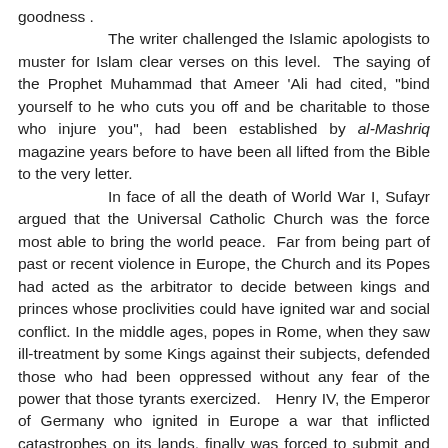goodness . The writer challenged the Islamic apologists to muster for Islam clear verses on this level. The saying of the Prophet Muhammad that Ameer 'Ali had cited, "bind yourself to he who cuts you off and be charitable to those who injure you", had been established by _al-Mashriq_ magazine years before to have been all lifted from the Bible to the very letter. In face of all the death of World War I, Sufayr argued that the Universal Catholic Church was the force most able to bring the world peace. Far from being part of past or recent violence in Europe, the Church and its Popes had acted as the arbitrator to decide between kings and princes whose proclivities could have ignited war and social conflict. In the middle ages, popes in Rome, when they saw ill-treatment by some Kings against their subjects, defended those who had been oppressed without any fear of the power that those tyrants exercized. Henry IV, the Emperor of Germany who ignited in Europe a war that inflicted catastrophes on its lands, finally was forced to submit and desist before the wise old man of Rome. This characterization by Sufayr ignored that Pope Gregory VII (1073-85) was no such wise arbitrator who only